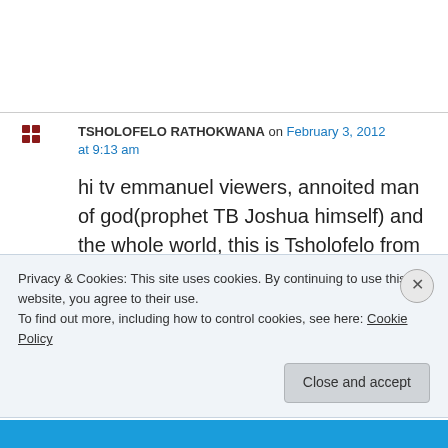TSHOLOFELO RATHOKWANA on February 3, 2012 at 9:13 am
hi tv emmanuel viewers, annoited man of god(prophet TB Joshua himself) and the whole world, this is Tsholofelo from Gaborone (Botswana ) would like the man of God prophet
Privacy & Cookies: This site uses cookies. By continuing to use this website, you agree to their use.
To find out more, including how to control cookies, see here: Cookie Policy
Close and accept